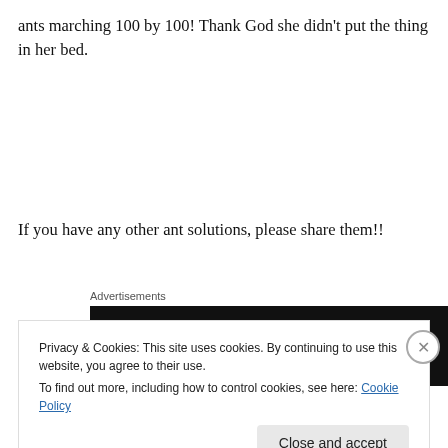ants marching 100 by 100! Thank God she didn't put the thing in her bed.
If you have any other ant solutions, please share them!!
[Figure (other): Advertisements banner showing a dark background with a Sensei logo (white circle with icon and 'sensei' text)]
Privacy & Cookies: This site uses cookies. By continuing to use this website, you agree to their use.
To find out more, including how to control cookies, see here: Cookie Policy
Close and accept